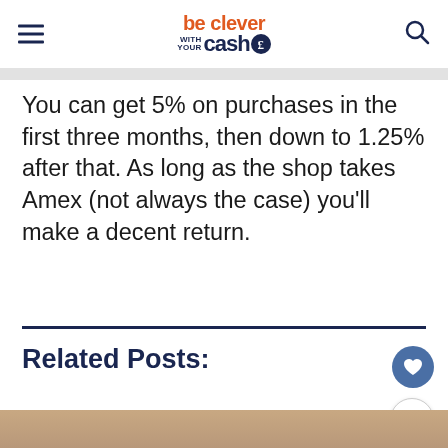be clever with your casho
You can get 5% on purchases in the first three months, then down to 1.25% after that. As long as the shop takes Amex (not always the case) you’ll make a decent return.
Related Posts: